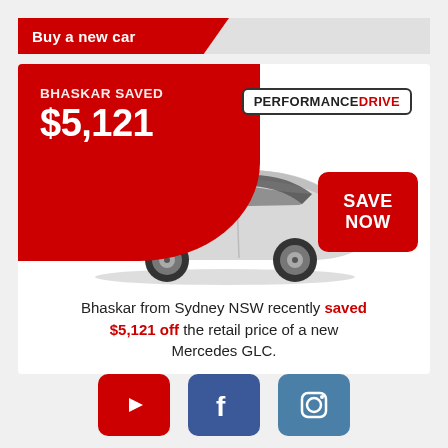Buy a new car
[Figure (infographic): Red semicircle badge showing BHASKAR SAVED $5,121, PerformanceDrive logo, white Mercedes GLC SUV illustration, red Save Now button]
Bhaskar from Sydney NSW recently saved $5,121 off the retail price of a new Mercedes GLC.
[Figure (infographic): Three social media icons: YouTube (red), Facebook (blue), Instagram (steel blue)]